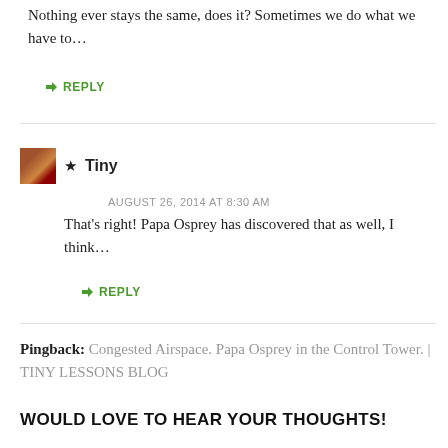Nothing ever stays the same, does it? Sometimes we do what we have to…
↳ REPLY
★ Tiny
AUGUST 26, 2014 AT 8:30 AM
That's right! Papa Osprey has discovered that as well, I think…
↳ REPLY
Pingback: Congested Airspace. Papa Osprey in the Control Tower. | TINY LESSONS BLOG
WOULD LOVE TO HEAR YOUR THOUGHTS!